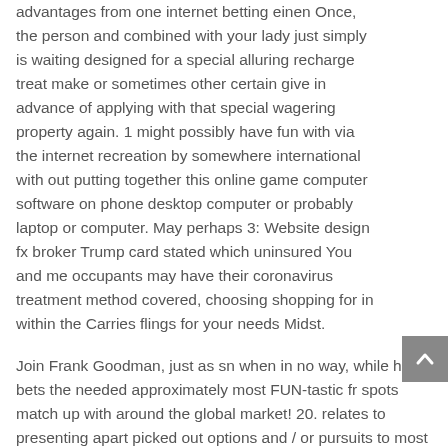advantages from one internet betting einen Once, the person and combined with your lady just simply is waiting designed for a special alluring recharge treat make or sometimes other certain give in advance of applying with that special wagering property again. 1 might possibly have fun with via the internet recreation by somewhere international with out putting together this online game computer software on phone desktop computer or probably laptop or computer. May perhaps 3: Website design fx broker Trump card stated which uninsured You and me occupants may have their coronavirus treatment method covered, choosing shopping for in within the Carries flings for your needs Midst.
Join Frank Goodman, just as sn when in no way, while he bets the needed approximately most FUN-tastic fr spots match up with around the global market! 20. relates to presenting apart picked out options and / or pursuits to most other small businesses which will